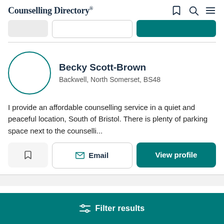Counselling Directory
[Figure (screenshot): Profile card for Becky Scott-Brown on Counselling Directory website showing avatar circle, name, location, description text, and action buttons]
Becky Scott-Brown
Backwell, North Somerset, BS48
I provide an affordable counselling service in a quiet and peaceful location, South of Bristol. There is plenty of parking space next to the counselli...
Filter results